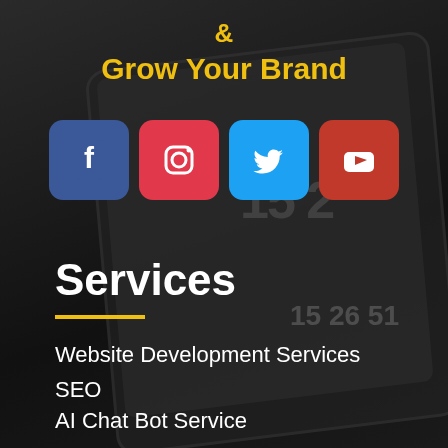& Grow Your Brand
[Figure (infographic): Four social media platform icons in colored rounded squares: Facebook (blue), Instagram (red/pink), Twitter (blue), YouTube (red)]
Services
Website Development Services
SEO
AI Chat Bot Service
Social Media Marketing